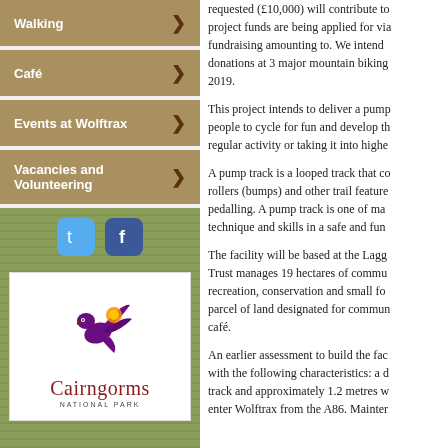Walking
Café
Events at Wolftrax
Vacancies and Volunteering
[Figure (logo): Cairngorms National Park logo with bird and social media icons on green forest background]
requested (£10,000) will contribute to project funds are being applied for via fundraising amounting to. We intend donations at 3 major mountain biking 2019.
This project intends to deliver a pump people to cycle for fun and develop the regular activity or taking it into highe
A pump track is a looped track that co rollers (bumps) and other trail feature pedalling. A pump track is one of ma technique and skills in a safe and fun
The facility will be based at the Lagg Trust manages 19 hectares of commu recreation, conservation and small fo parcel of land designated for commun café.
An earlier assessment to build the fac with the following characteristics: a d track and approximately 1.2 metres w enter Wolftrax from the A86. Mainter